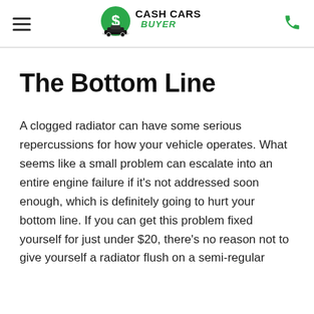Cash Cars Buyer
The Bottom Line
A clogged radiator can have some serious repercussions for how your vehicle operates. What seems like a small problem can escalate into an entire engine failure if it's not addressed soon enough, which is definitely going to hurt your bottom line. If you can get this problem fixed yourself for just under $20, there's no reason not to give yourself a radiator flush on a semi-regular basis.